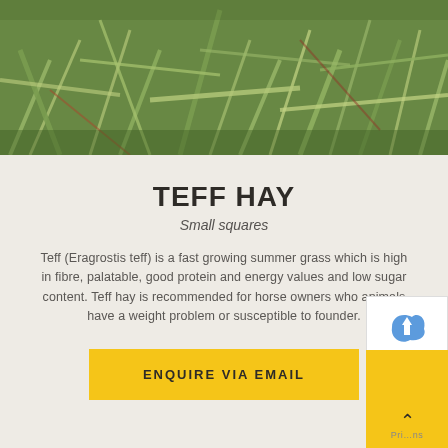[Figure (photo): Close-up photo of teff hay grass — green stems and leaves tangled together]
TEFF HAY
Small squares
Teff (Eragrostis teff) is a fast growing summer grass which is high in fibre, palatable, good protein and energy values and low sugar content. Teff hay is recommended for horse owners who animals have a weight problem or susceptible to founder.
ENQUIRE VIA EMAIL